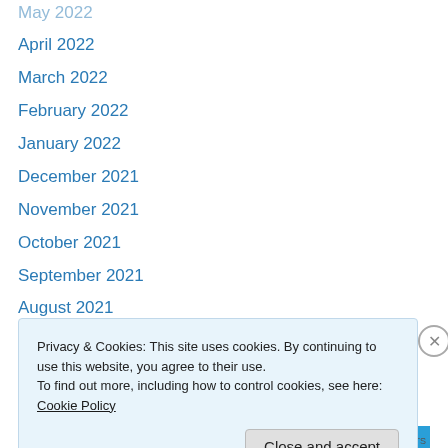May 2022
April 2022
March 2022
February 2022
January 2022
December 2021
November 2021
October 2021
September 2021
August 2021
July 2021
June 2021
May 2021
April 2021
Privacy & Cookies: This site uses cookies. By continuing to use this website, you agree to their use.
To find out more, including how to control cookies, see here: Cookie Policy
Close and accept